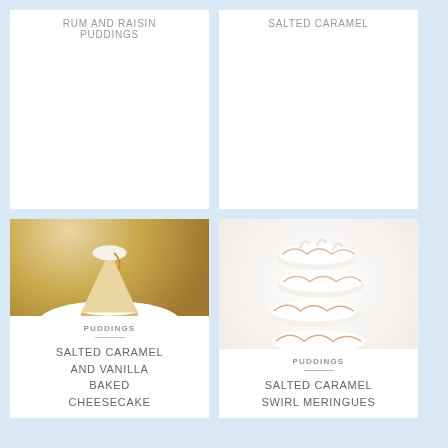RUM AND RAISIN PUDDINGS
SALTED CARAMEL
[Figure (photo): A slice of salted caramel and vanilla baked cheesecake on a white plate with a fork, on a golden background]
PUDDINGS
SALTED CARAMEL AND VANILLA BAKED CHEESECAKE
[Figure (photo): A stack of salted caramel swirl meringues on a white surface]
PUDDINGS
SALTED CARAMEL SWIRL MERINGUES